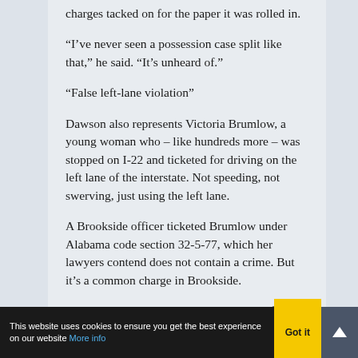charges tacked on for the paper it was rolled in.
“I’ve never seen a possession case split like that,” he said. “It’s unheard of.”
“False left-lane violation”
Dawson also represents Victoria Brumlow, a young woman who – like hundreds more – was stopped on I-22 and ticketed for driving on the left lane of the interstate. Not speeding, not swerving, just using the left lane.
A Brookside officer ticketed Brumlow under Alabama code section 32-5-77, which her lawyers contend does not contain a crime. But it’s a common charge in Brookside.
She was also charged with being in the left lane...
This website uses cookies to ensure you get the best experience on our website More info  Got it